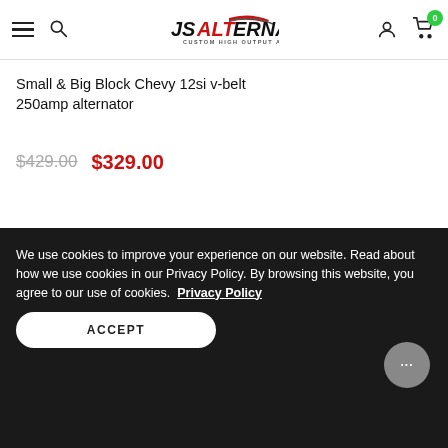JS Alternators — Custom High Output Alternators
Small & Big Block Chevy 12si v-belt 250amp alternator
$429.00  $329.00
CUSTOMER REVIEWS
We use cookies to improve your experience on our website. Read about how we use cookies in our Privacy Policy. By browsing this website, you agree to our use of cookies. Privacy Policy
ACCEPT